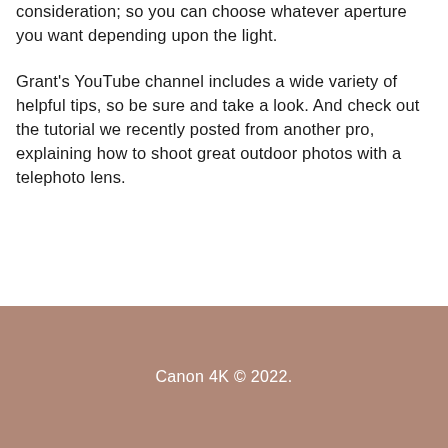photography depth-of-field isn't a relevant consideration; so you can choose whatever aperture you want depending upon the light.
Grant's YouTube channel includes a wide variety of helpful tips, so be sure and take a look. And check out the tutorial we recently posted from another pro, explaining how to shoot great outdoor photos with a telephoto lens.
Canon 4K © 2022.